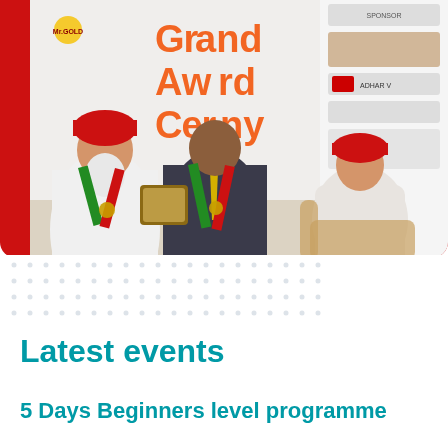[Figure (photo): Award ceremony photo showing three men on stage. Left: elderly man in white chef coat and red turban with white beard wearing colorful medal sash, presenting a plaque. Center: younger man in dark suit with yellow tie wearing medal sash, receiving plaque. Right: older man in white shirt with red turban seated. Background shows a red banner reading 'Grand Award Ceremony' in orange text, with sponsor logos including Mr.GOLD on the upper left and other logos on the right.]
Latest events
5 Days Beginners level programme